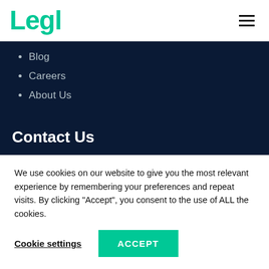Legl
Blog
Careers
About Us
Contact Us
Email
We use cookies on our website to give you the most relevant experience by remembering your preferences and repeat visits. By clicking “Accept”, you consent to the use of ALL the cookies.
Cookie settings
ACCEPT